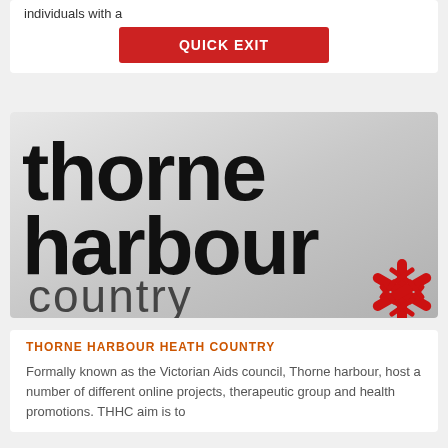individuals with a
QUICK EXIT
[Figure (logo): Thorne Harbour Country logo: bold black lowercase text 'thorne harbour' on gradient silver background, with 'country*' in dark grey below and a red asterisk/snowflake symbol on the right]
THORNE HARBOUR HEATH COUNTRY
Formally known as the Victorian Aids council, Thorne harbour, host a number of different online projects, therapeutic group and health promotions. THHC aim is to